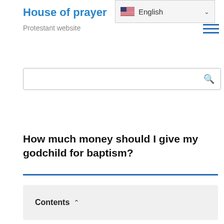House of prayer — Protestant website
[Figure (screenshot): Language selector dropdown showing English with US flag and chevron]
[Figure (screenshot): Hamburger menu icon (three horizontal blue lines)]
[Figure (screenshot): Search input box with magnifying glass icon]
How much money should I give my godchild for baptism?
Contents